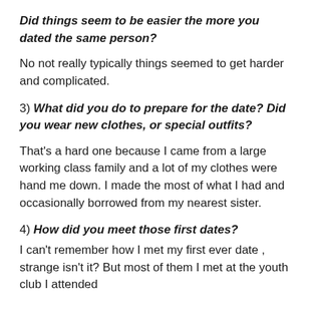Did things seem to be easier the more you dated the same person?
No not really typically things seemed to get harder and complicated.
3) What did you do to prepare for the date? Did you wear new clothes, or special outfits?
That's a hard one because I came from a large working class family and a lot of my clothes were hand me down. I made the most of what I had and occasionally borrowed from my nearest sister.
4) How did you meet those first dates?
I can't remember how I met my first ever date , strange isn't it? But most of them I met at the youth club I attended